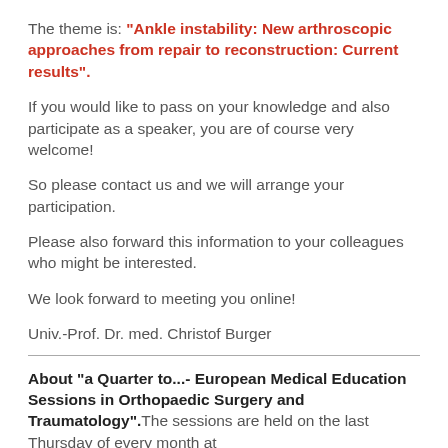The theme is: "Ankle instability: New arthroscopic approaches from repair to reconstruction: Current results".
If you would like to pass on your knowledge and also participate as a speaker, you are of course very welcome!
So please contact us and we will arrange your participation.
Please also forward this information to your colleagues who might be interested.
We look forward to meeting you online!
Univ.-Prof. Dr. med. Christof Burger
About "a Quarter to...- European Medical Education Sessions in Orthopaedic Surgery and Traumatology".The sessions are held on the last Thursday of every month at